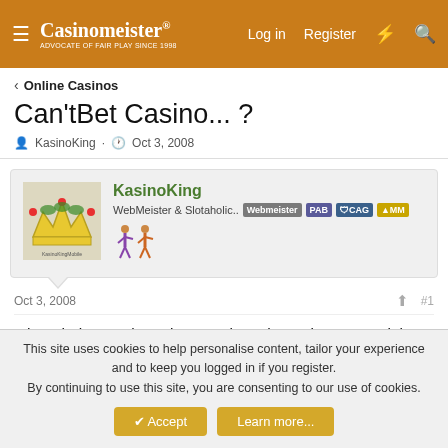Casinomeister® — Log in   Register
Online Casinos
Can'tBet Casino... ?
KasinoKing · Oct 3, 2008
KasinoKing
WebMeister & Slotaholic..  Webmeister  PAB  CAG  MM
Oct 3, 2008
#1
I thought it was about time I took up the Meister's special bonus at CanBet.
This site uses cookies to help personalise content, tailor your experience and to keep you logged in if you register.
By continuing to use this site, you are consenting to our use of cookies.
Accept   Learn more...